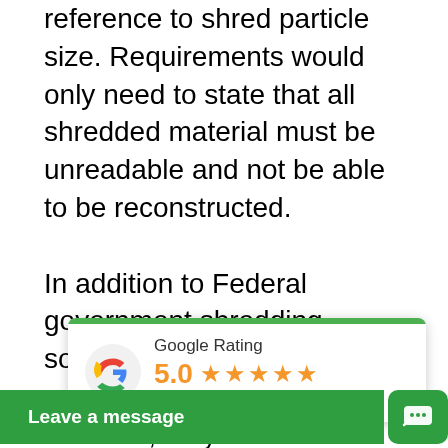reference to shred particle size. Requirements would only need to state that all shredded material must be unreadable and not be able to be reconstructed.

In addition to Federal government shredding solicitations requiring the vendor to be NAID AAA Certified, they should also require the vendor to be actively engaged in the professional secure information destruction/protection industry for at least 24-months and demonstrate past performance history on other similar contracts. By taking these steps, it should eliminate/prevent the possibility of a company not active in our industry, being able to win government contracts and then turnaround and hire p[...]gement company s[...]l work. Companies with n[...]who win these types of c[...] subject matter expert...
[Figure (other): Google Rating widget overlay: Google logo (multicolor G), rating label 'Google Rating', score '5.0', five orange stars, text 'Based on 219 reviews'. Green top bar accent.]
[Figure (other): Green 'Leave a message' chat widget button with chat icon on the right.]